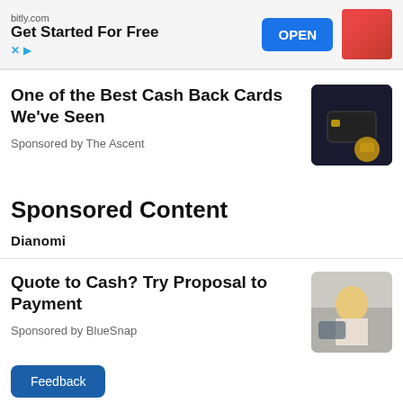[Figure (screenshot): Ad banner: bitly.com Get Started For Free with OPEN button]
[Figure (photo): Dark background image with a black credit card and gold hand figurine]
One of the Best Cash Back Cards We've Seen
Sponsored by The Ascent
Sponsored Content
[Figure (logo): Dianomi logo]
[Figure (photo): Office woman with blonde hair smiling at laptop]
Quote to Cash? Try Proposal to Payment
Sponsored by BlueSnap
Feedback